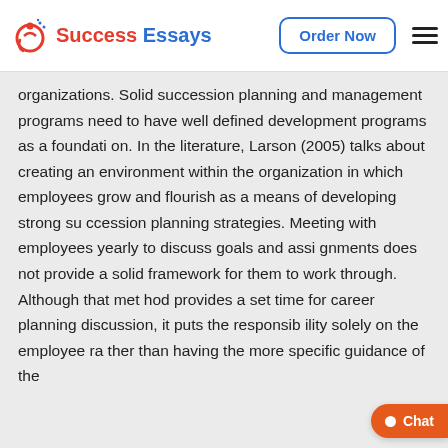Success Essays | Order Now
organizations. Solid succession planning and management programs need to have well defined development programs as a foundati on. In the literature, Larson (2005) talks about creating an environment within the organization in which employees grow and flourish as a means of developing strong su ccession planning strategies. Meeting with employees yearly to discuss goals and assi gnments does not provide a solid framework for them to work through. Although that met hod provides a set time for career planning discussion, it puts the responsib ility solely on the employee ra ther than having the more specific guidance of the